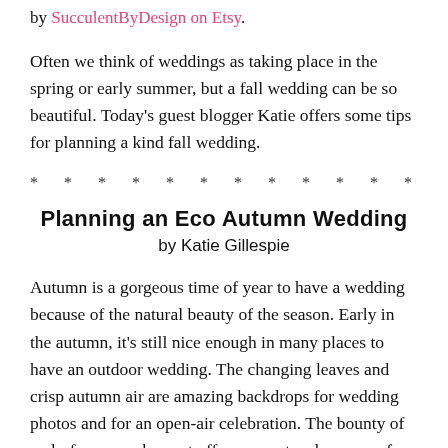by SucculentByDesign on Etsy.
Often we think of weddings as taking place in the spring or early summer, but a fall wedding can be so beautiful. Today's guest blogger Katie offers some tips for planning a kind fall wedding.
* * * * * * * * * * * *
Planning an Eco Autumn Wedding
by Katie Gillespie
Autumn is a gorgeous time of year to have a wedding because of the natural beauty of the season. Early in the autumn, it's still nice enough in many places to have an outdoor wedding. The changing leaves and crisp autumn air are amazing backdrops for wedding photos and for an open-air celebration. The bounty of end-of-summer harvest offers a spectacular array of food easily prepared vegan